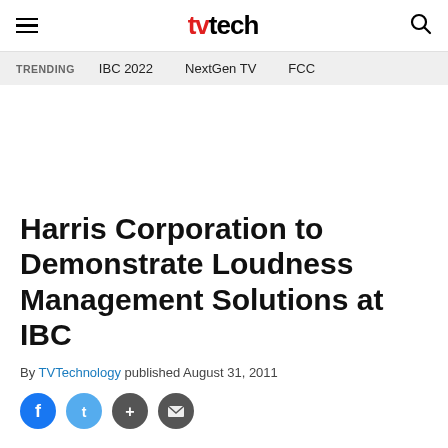tvtech — navigation header with hamburger menu and search icon
TRENDING   IBC 2022   NextGen TV   FCC
Harris Corporation to Demonstrate Loudness Management Solutions at IBC
By TVTechnology published August 31, 2011
[Figure (other): Social sharing icons row: Facebook (blue circle), Twitter (light blue circle), Share (dark circle), Email (dark circle)]